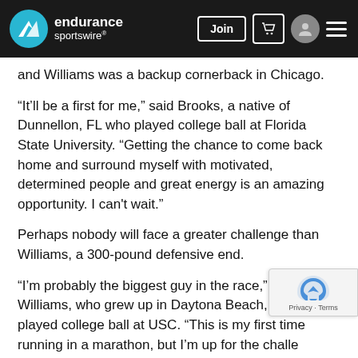endurance sportswire — Join
and Williams was a backup cornerback in Chicago.
“It’ll be a first for me,” said Brooks, a native of Dunnellon, FL who played college ball at Florida State University. “Getting the chance to come back home and surround myself with motivated, determined people and great energy is an amazing opportunity. I can’t wait.”
Perhaps nobody will face a greater challenge than Williams, a 300-pound defensive end.
“I’m probably the biggest guy in the race,” said Williams, who grew up in Daytona Beach, FL and played college ball at USC. “This is my first time running in a marathon, but I’m up for the challe
“Anything for the kids. I want them to know that no